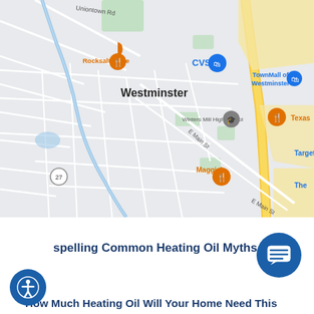[Figure (map): Google Maps screenshot showing Westminster, MD area with landmarks including TownMall of Westminster, CVS, Rocksalt Grille, Maggie's, Winters Mill High School, Texas Roadhouse, Target, and road labels including Uniontown Rd, E Main St.]
spelling Common Heating Oil Myths
How Much Heating Oil Will Your Home Need This